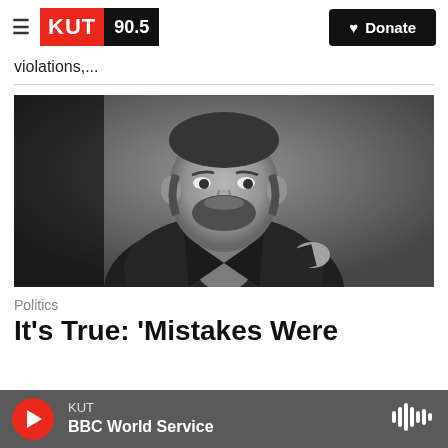KUT 90.5 | Donate
violations,...
[Figure (photo): Black and white portrait photograph of a man with a beard wearing a dark suit with a bow tie, standing in a formal pose]
Politics
It's True: 'Mistakes Were
KUT | BBC World Service